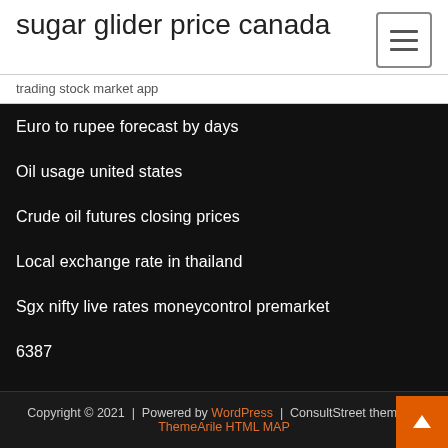sugar glider price canada
trading stock market app
Euro to rupee forecast by days
Oil usage united states
Crude oil futures closing prices
Local exchange rate in thailand
Sgx nifty live rates moneycontrol premarket
6387
Copyright © 2021  |  Powered by WordPress  |  ConsultStreet theme by ThemeArile HTML MAP